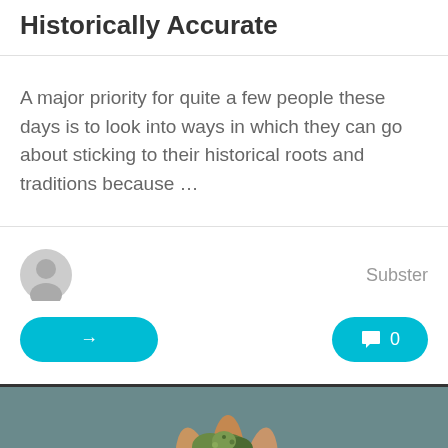Historically Accurate
A major priority for quite a few people these days is to look into ways in which they can go about sticking to their historical roots and traditions because …
Subster
[Figure (photo): A hand holding a cannabis bud against a teal/grey background]